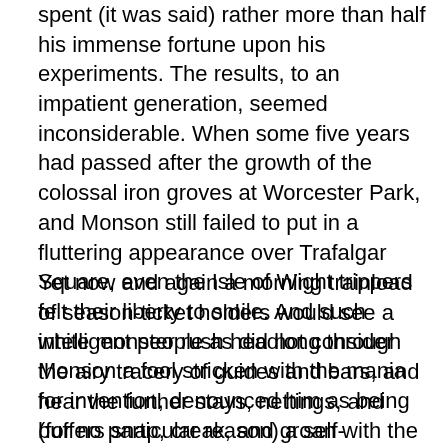spent (it was said) rather more than half his immense fortune upon his experiments. The results, to an impatient generation, seemed inconsiderable. When some five years had passed after the growth of the colossal iron groves at Worcester Park, and Monson still failed to put in a fluttering appearance over Trafalgar Square, even the Isle of Wight trippers felt their liberty to smile. And such intelligent people as did not consider Monson a fool stricken with the mania for invention, denounced him as being (for no particular reason) a self-advertising quack.
Yet now and again a morning trainload of season-ticket holders would see a white monster rush headlong through the airy tracery of guides and bars, and hear the further stays, nettings, and buffers snap, creak, and groan with the impact of the blow. Then there would be an efflorescence of black-set white-rimmed faces along the sides of the train, and the morning papers would be